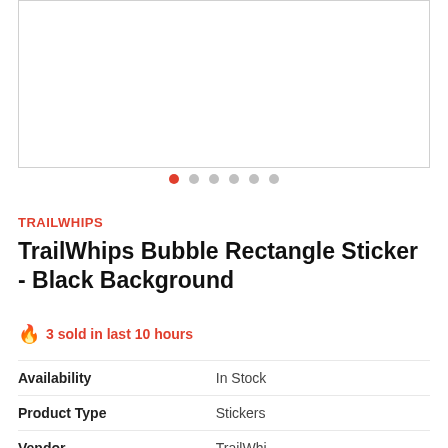[Figure (photo): Product image area with white background and light gray border, showing a blank/empty image placeholder]
[Figure (other): Image carousel navigation dots: 6 dots in a row, first dot is red/active, remaining 5 are gray]
TRAILWHIPS
TrailWhips Bubble Rectangle Sticker - Black Background
🔥  3 sold in last 10 hours
| Availability | In Stock |
| Product Type | Stickers |
| Vendor | TrailWhips |